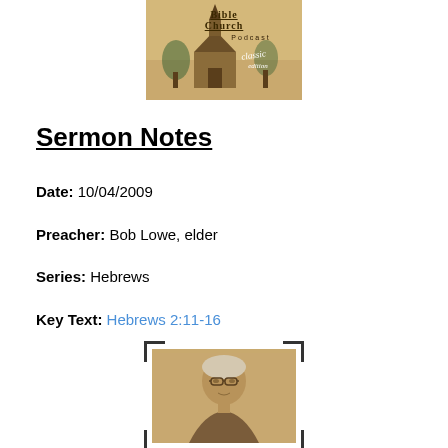[Figure (logo): Bible Church Podcast Classic Edition logo with church steeple image]
Sermon Notes
Date: 10/04/2009
Preacher: Bob Lowe, elder
Series: Hebrews
Key Text: Hebrews 2:11-16
[Figure (photo): Sepia-toned photo of an elderly man with glasses in a vintage photo frame with corner brackets]